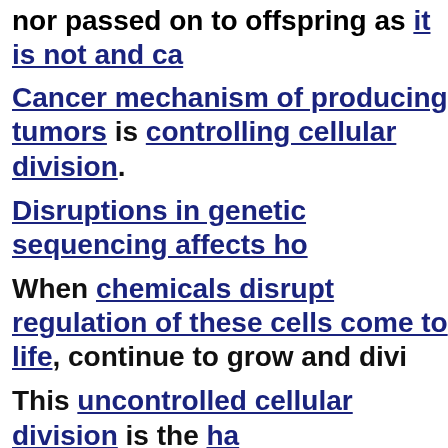nor passed on to offspring as it is not and ca
Cancer mechanism of producing tumors is controlling cellular division.
Disruptions in genetic sequencing affects ho
When chemicals disrupt regulation of these cells come to life, continue to grow and divi
This uncontrolled cellular division is the ha
A captive audience makes oncological canco
Despite massive public screening campaigm continue to soar, and many companies not o chemicals that cause cancer but also from